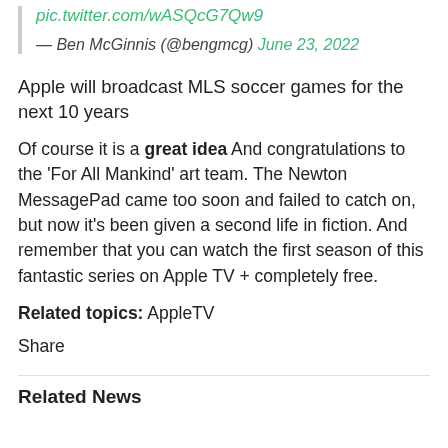pic.twitter.com/wASQcG7Qw9
— Ben McGinnis (@bengmcg) June 23, 2022
Apple will broadcast MLS soccer games for the next 10 years
Of course it is a great idea And congratulations to the 'For All Mankind' art team. The Newton MessagePad came too soon and failed to catch on, but now it's been given a second life in fiction. And remember that you can watch the first season of this fantastic series on Apple TV + completely free.
Related topics: AppleTV
Share
Related News